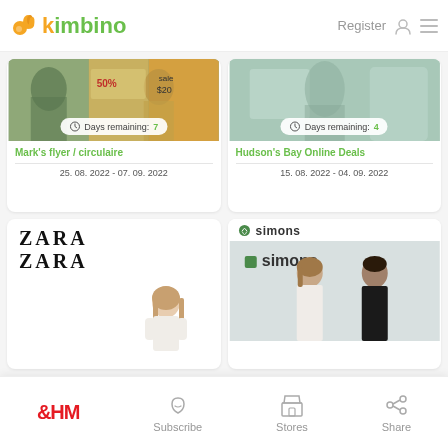kimbino — Register
[Figure (screenshot): Mark's flyer card with clothing image and 'Days remaining: 7' badge]
Mark's flyer / circulaire
25. 08. 2022 - 07. 09. 2022
[Figure (screenshot): Hudson's Bay Online Deals card with person image and 'Days remaining: 4' badge]
Hudson's Bay Online Deals
15. 08. 2022 - 04. 09. 2022
[Figure (screenshot): ZARA logo card with model photo]
[Figure (screenshot): Simons logo card with two models photo]
H&M | Subscribe | Stores | Share